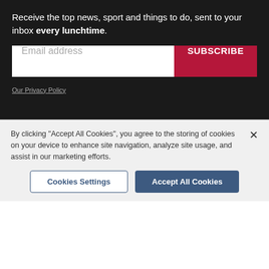Receive the top news, sport and things to do, sent to your inbox every lunchtime.
Email address
SUBSCRIBE
Our Privacy Policy
In Norwich, the infection rate went up from 111.7 last week to 128 for the seven days up to December 3.
By clicking "Accept All Cookies", you agree to the storing of cookies on your device to enhance site navigation, analyze site usage, and assist in our marketing efforts.
Cookies Settings
Accept All Cookies